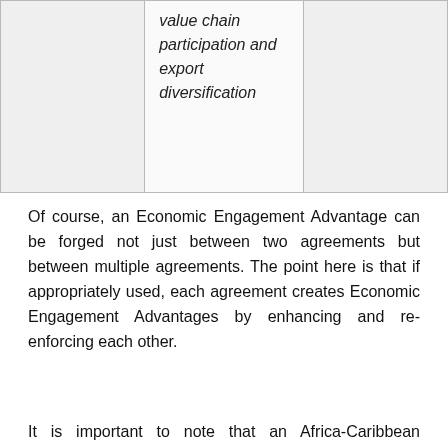|  | value chain participation and export diversification |  |
Of course, an Economic Engagement Advantage can be forged not just between two agreements but between multiple agreements. The point here is that if appropriately used, each agreement creates Economic Engagement Advantages by enhancing and re-enforcing each other.
It is important to note that an Africa-Caribbean Economic Engagement Network would not just be about Africa and the Caribbean entering into a series of agreements. While these agreements, which now do not fully exist, are a necessary foundation, they are not enough. The Africa-Caribbean Economic Engagement Network has to